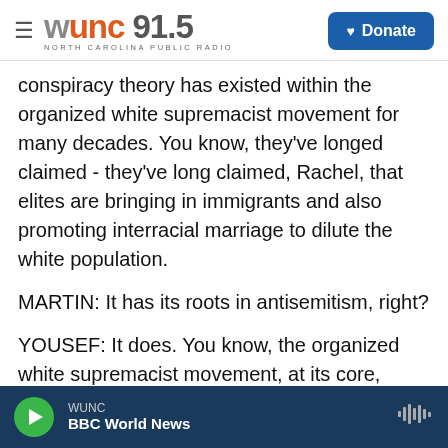WUNC 91.5 — NORTH CAROLINA PUBLIC RADIO | Donate
conspiracy theory has existed within the organized white supremacist movement for many decades. You know, they've longed claimed - they've long claimed, Rachel, that elites are bringing in immigrants and also promoting interracial marriage to dilute the white population.
MARTIN: It has its roots in antisemitism, right?
YOUSEF: It does. You know, the organized white supremacist movement, at its core, revolves around a conspiratorial belief that Jews control the media, they control Hollywood, they control the
WUNC | BBC World News